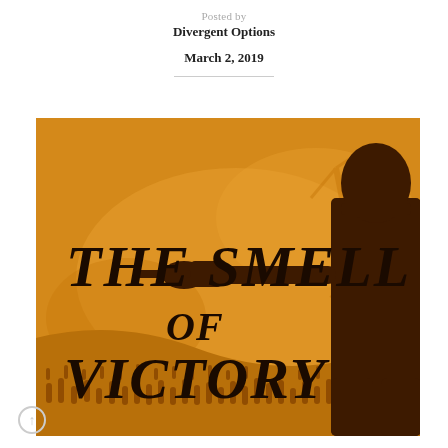Posted by
Divergent Options
March 2, 2019
[Figure (illustration): Illustration with orange and brown tones showing a silhouetted soldier figure on the right aiming a weapon, with a battle scene in the background. Large medieval-style black text reads 'THE SMELL OF VICTORY' overlaid on the image.]